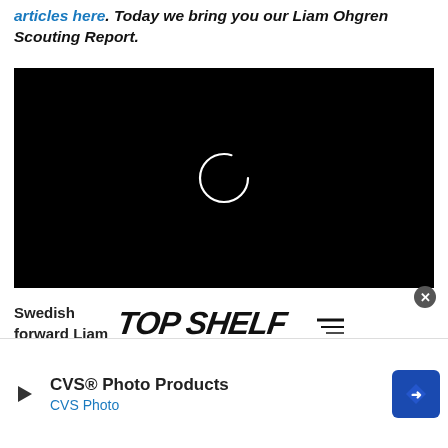articles here. Today we bring you our Liam Ohgren Scouting Report.
[Figure (screenshot): Black video player with a white circular loading spinner in the center]
Swedish forward Liam
[Figure (logo): Top Shelf Podcasts logo in bold italic black text]
CVS® Photo Products CVS Photo